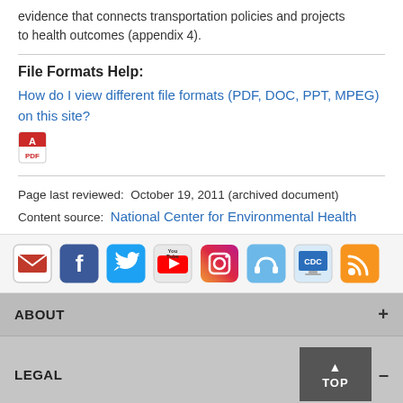evidence that connects transportation policies and projects to health outcomes (appendix 4).
File Formats Help:
How do I view different file formats (PDF, DOC, PPT, MPEG) on this site?
[Figure (illustration): PDF file icon (red Adobe Acrobat style icon)]
Page last reviewed:  October 19, 2011 (archived document)
Content source:  National Center for Environmental Health
[Figure (infographic): Social media icons row: email/govdelivery, Facebook, Twitter, YouTube, Instagram, SoundCloud/podcast, CDC TV, RSS feed]
ABOUT  +
LEGAL  -